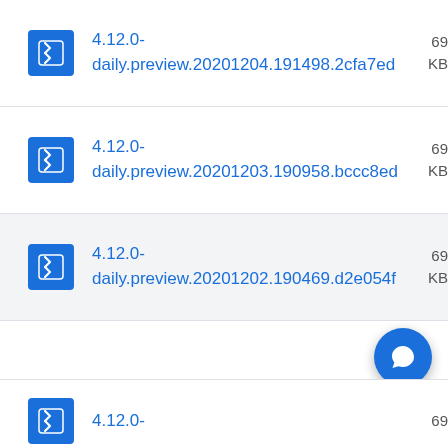4.12.0-daily.preview.20201204.191498.2cfa7ed
4.12.0-daily.preview.20201203.190958.bccc8ed
4.12.0-daily.preview.20201202.190469.d2e054f
4.12.0-